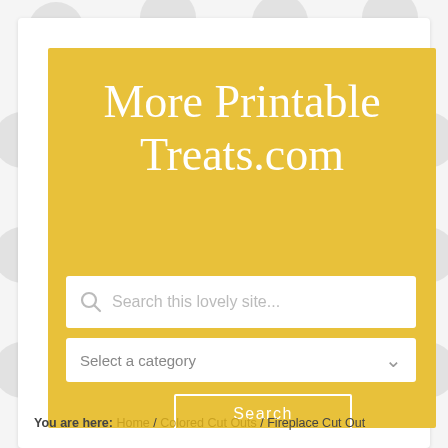More Printable Treats.com
Search this lovely site...
Select a category
Search
You are here: Home / Colored Cut Outs / Fireplace Cut Out